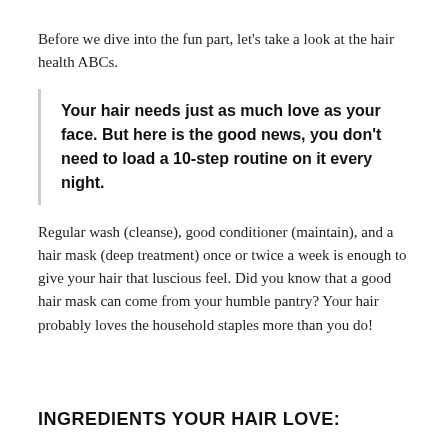Before we dive into the fun part, let's take a look at the hair health ABCs.
Your hair needs just as much love as your face. But here is the good news, you don't need to load a 10-step routine on it every night.
Regular wash (cleanse), good conditioner (maintain), and a hair mask (deep treatment) once or twice a week is enough to give your hair that luscious feel. Did you know that a good hair mask can come from your humble pantry? Your hair probably loves the household staples more than you do!
INGREDIENTS YOUR HAIR LOVE: